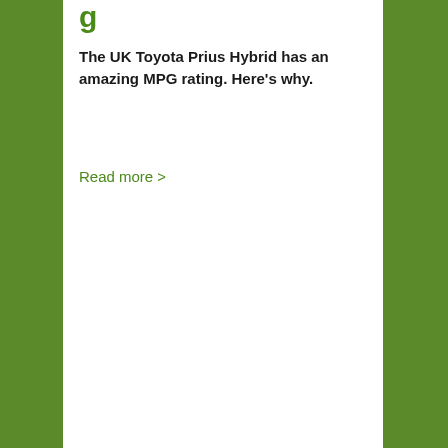g
The UK Toyota Prius Hybrid has an amazing MPG rating. Here's why.
Read more >